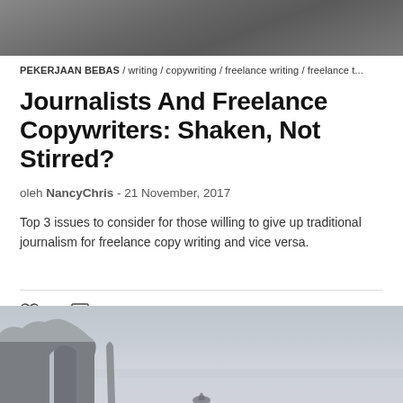[Figure (photo): Top portion of a photo showing a person writing/working at a desk, dark toned background]
PEKERJAAN BEBAS / writing / copywriting / freelance writing / freelance t...
Journalists And Freelance Copywriters: Shaken, Not Stirred?
oleh NancyChris - 21 November, 2017
Top 3 issues to consider for those willing to give up traditional journalism for freelance copy writing and vice versa.
♡ 9   ○ 4
[Figure (photo): Bottom portion showing a misty coastal cliff landscape with a person visible at the bottom, foggy atmosphere]